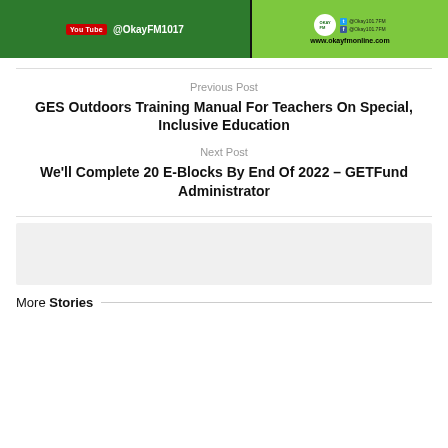[Figure (illustration): YouTube @OkayFM1017 banner on green background with OkayFM logo, social media icons and www.okayfmonline.com on right panel]
Previous Post
GES Outdoors Training Manual For Teachers On Special, Inclusive Education
Next Post
We'll Complete 20 E-Blocks By End Of 2022 – GETFund Administrator
More Stories